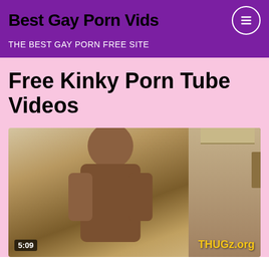Best Gay Porn Vids
THE BEST GAY PORN FREE SITE
Free Kinky Porn Tube Videos
[Figure (photo): Video thumbnail showing a person, with duration badge '5:09' in bottom left and watermark 'THUGz.org' in bottom right.]
5:09   THUGz.org